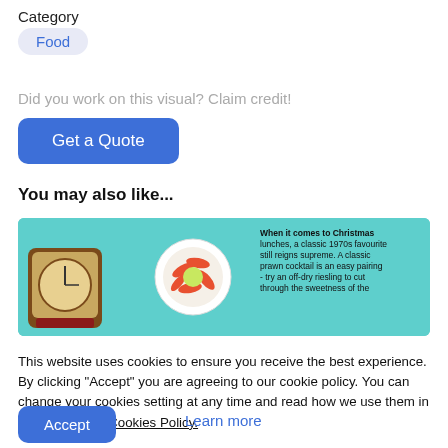Category
Food
Did you work on this visual? Claim credit!
Get a Quote
You may also like...
[Figure (infographic): Thumbnail infographic about Christmas lunches with a clock, a prawn cocktail dish, and a wine glass on a teal background. Text reads: When it comes to Christmas lunches, a classic 1970s favourite still reigns supreme. A classic prawn cocktail is an easy pairing - try an off-dry riesling to cut through the sweetness of the]
This website uses cookies to ensure you receive the best experience. By clicking "Accept" you are agreeing to our cookie policy. You can change your cookies setting at any time and read how we use them in our Privacy & Cookies Policy.
Accept
Learn more